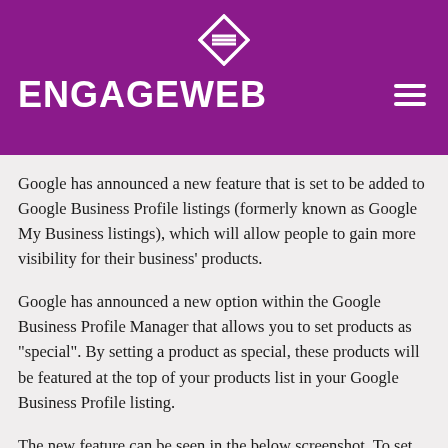ENGAGEWEB
Google has announced a new feature that is set to be added to Google Business Profile listings (formerly known as Google My Business listings), which will allow people to gain more visibility for their business’ products.
Google has announced a new option within the Google Business Profile Manager that allows you to set products as “special”. By setting a product as special, these products will be featured at the top of your products list in your Google Business Profile listing.
The new feature can be seen in the below screenshot. To set your product at the top of product section of your listing, you must tick the “Mark as Special” tick box: